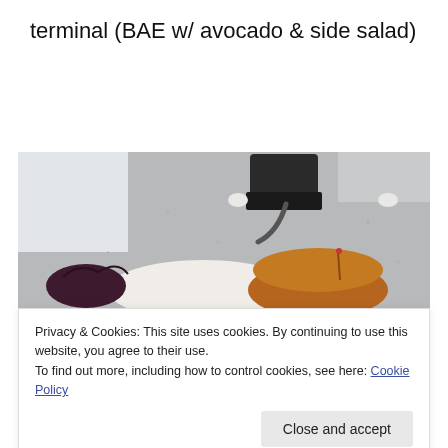terminal (BAE w/ avocado & side salad)
[Figure (photo): Photo of a restaurant table with a payment terminal device and a plate with a burger bun and salad greens, viewed from above on a grey speckled table surface.]
Privacy & Cookies: This site uses cookies. By continuing to use this website, you agree to their use.
To find out more, including how to control cookies, see here: Cookie Policy
[Figure (photo): Partial view of a plate with salad and food items, cropped at the bottom of the page.]